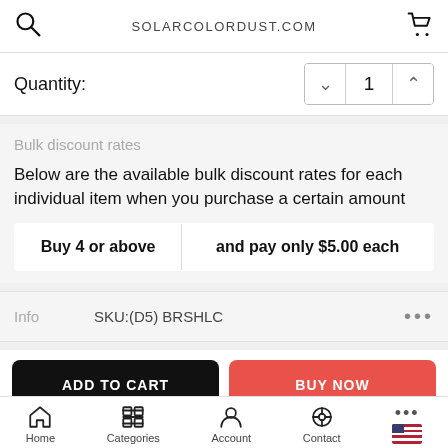SOLARCOLORDUST.COM
Quantity:  1
Bulk discount rates
Below are the available bulk discount rates for each individual item when you purchase a certain amount
| Buy 4 or above | and pay only $5.00 each |
Info   SKU:(D5) BRSHLC
ADD TO CART   BUY NOW
Please Read All Information Below Before Placing Your Order
Home   Categories   Account   Contact   ...